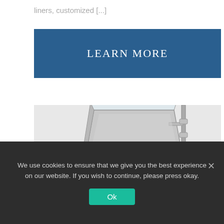liners, customized [...]
LEARN MORE
[Figure (photo): Industrial hopper or bin station on a metal stand with a transparent lid/cover, photographed against a white background. The equipment appears to be stainless steel or painted metal with support legs and hardware fittings.]
We use cookies to ensure that we give you the best experience on our website. If you wish to continue, please press okay.
Ok